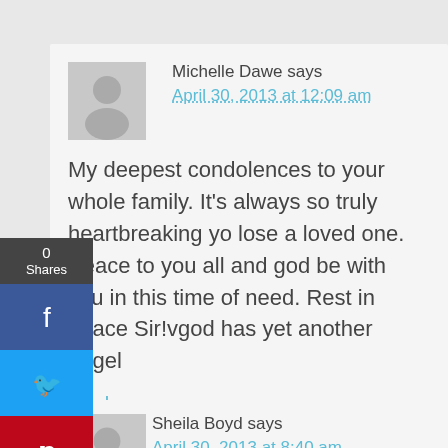Michelle Dawe says
April 30, 2013 at 12:09 am
My deepest condolences to your whole family. It's always so truly heartbreaking yo lose a loved one. Peace to you all and god be with you in this time of need. Rest in peace Sir!vgod has yet another angel
Reply
Sheila Boyd says
April 30, 2013 at 8:40 am